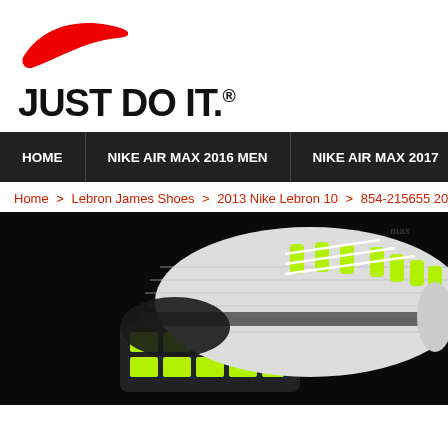[Figure (logo): Nike swoosh logo in red on white background]
JUST DO IT.®
HOME | NIKE AIR MAX 2016 MEN | NIKE AIR MAX 2017
Home > Lebron James Shoes > 2013 Nike Lebron 10 > 854-215655 2013 New N
[Figure (photo): Close-up photo of a Nike sneaker (Air Max) with neon yellow-green sole and laces on a black background]